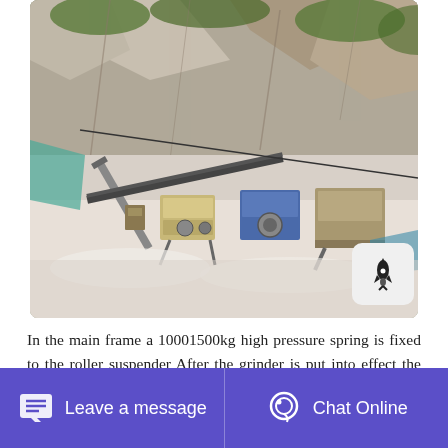[Figure (photo): Aerial or elevated view of a quarry/mining site with heavy crushing and grinding machinery (jaw crushers, conveyors, screens) set against a rocky cliff face with green vegetation. Industrial equipment in yellow/beige and blue/grey colors on white rocky ground.]
In the main frame a 10001500kg high pressure spring is fixed to the roller suspender After the grinder is put into effect the ring affected by the high pressure spring and centrifugal force And its rolling pressure is 12 times higher than that of the Raymond grinder under the
Leave a message   Chat Online